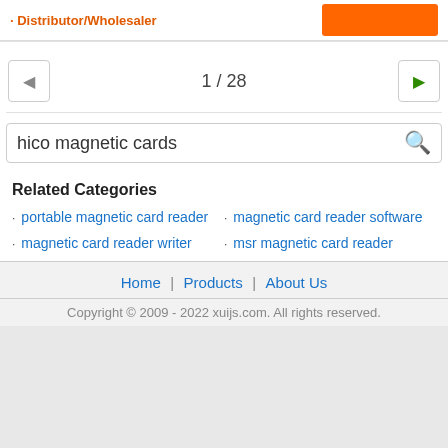Distributor/Wholesaler
1 / 28
hico magnetic cards
Related Categories
portable magnetic card reader
magnetic card reader writer
magnetic card reader software
msr magnetic card reader
Home | Products | About Us
Copyright © 2009 - 2022 xuijs.com. All rights reserved.